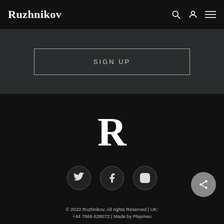Ruzhnikov
SIGN UP
[Figure (logo): Large serif letter R in white on dark background, the Ruzhnikov logo]
[Figure (infographic): Three social media icons in circular borders: Twitter (bird), Facebook (f), Instagram (camera outline)]
[Figure (infographic): Grey circular share button with share/network icon]
© 2022 Ruzhnikov. All rights Reserved | UK: +44 7866 628072 | Made by Playmeu